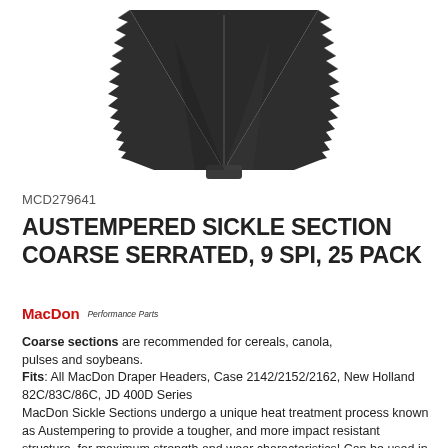[Figure (photo): Close-up photo of an austempered sickle section blade showing coarse serrated teeth, dark metallic color, triangular/arrow-shaped blade]
MCD279641
AUSTEMPERED SICKLE SECTION COARSE SERRATED, 9 SPI, 25 PACK
[Figure (logo): MacDon Performance Parts logo — 'MacDon' in red bold text followed by 'Performance Parts' in smaller italic text]
Coarse sections are recommended for cereals, canola, pulses and soybeans.
Fits: All MacDon Draper Headers, Case 2142/2152/2162, New Holland 82C/83C/86C, JD 400D Series
MacDon Sickle Sections undergo a unique heat treatment process known as Austempering to provide a tougher, and more impact resistant structure, for maximum strength and wear characteristics! Can be used in any harvest situation, designed and engineered to perform better than standard